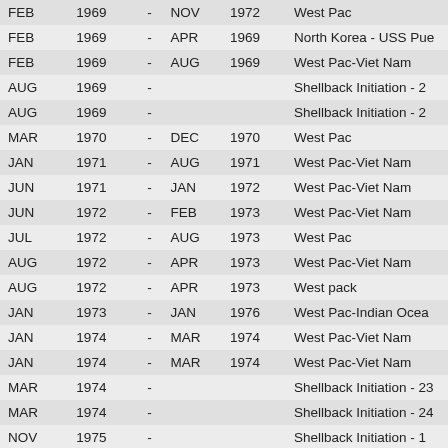| Month | Year |  | Month | Year | Description |
| --- | --- | --- | --- | --- | --- |
| FEB | 1969 | - | NOV | 1972 | West Pac |
| FEB | 1969 | - | APR | 1969 | North Korea - USS Pue |
| FEB | 1969 | - | AUG | 1969 | West Pac-Viet Nam |
| AUG | 1969 | - |  |  | Shellback Initiation - 2 |
| AUG | 1969 | - |  |  | Shellback Initiation - 2 |
| MAR | 1970 | - | DEC | 1970 | West Pac |
| JAN | 1971 | - | AUG | 1971 | West Pac-Viet Nam |
| JUN | 1971 | - | JAN | 1972 | West Pac-Viet Nam |
| JUN | 1972 | - | FEB | 1973 | West Pac-Viet Nam |
| JUL | 1972 | - | AUG | 1973 | West Pac |
| AUG | 1972 | - | APR | 1973 | West Pac-Viet Nam |
| AUG | 1972 | - | APR | 1973 | West pack |
| JAN | 1973 | - | JAN | 1976 | West Pac-Indian Ocea |
| JAN | 1974 | - | MAR | 1974 | West Pac-Viet Nam |
| JAN | 1974 | - | MAR | 1974 | West Pac-Viet Nam |
| MAR | 1974 | - |  |  | Shellback Initiation - 23 |
| MAR | 1974 | - |  |  | Shellback Initiation - 24 |
| NOV | 1975 | - |  |  | Shellback Initiation - 1 |
| APR | 1978 | - |  |  | Shellback Initiation - 28 |
| APR | 1978 | - |  |  | Shellback Initiation - 28 |
| MAY | 1978 | - | OCT | 1979 | West Pac |
| FEB | 1980 | - | SEP | 1980 | West Pac-Indian Ocea |
| MAR | 1980 | - | SEP | 1980 | West Pac-Indian Ocea |